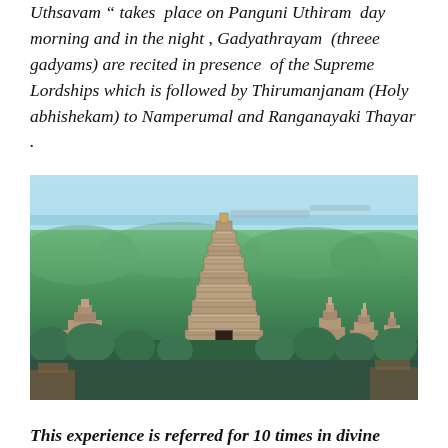Uthsavam " takes place on Panguni Uthiram day morning and in the night , Gadyathrayam (threee gadyams) are recited in presence of the Supreme Lordships which is followed by Thirumanjanam (Holy abhishekam) to Namperumal and Ranganayaki Thayar .
[Figure (photo): Aerial view of Ranganathaswamy Temple complex in Srirangam, showing the large main gopuram (tower) rising above a dense canopy of palm and coconut trees, with smaller gopurams visible in the background and blue sky above.]
This experience is referred for 10 times in divine...